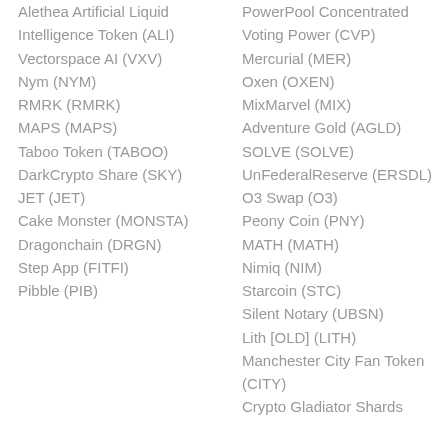Alethea Artificial Liquid Intelligence Token (ALI)
Vectorspace AI (VXV)
Nym (NYM)
RMRK (RMRK)
MAPS (MAPS)
Taboo Token (TABOO)
DarkCrypto Share (SKY)
JET (JET)
Cake Monster (MONSTA)
Dragonchain (DRGN)
Step App (FITFI)
Pibble (PIB)
PowerPool Concentrated Voting Power (CVP)
Mercurial (MER)
Oxen (OXEN)
MixMarvel (MIX)
Adventure Gold (AGLD)
SOLVE (SOLVE)
UnFederalReserve (ERSDL)
O3 Swap (O3)
Peony Coin (PNY)
MATH (MATH)
Nimiq (NIM)
Starcoin (STC)
Silent Notary (UBSN)
Lith [OLD] (LITH)
Manchester City Fan Token (CITY)
Crypto Gladiator Shards